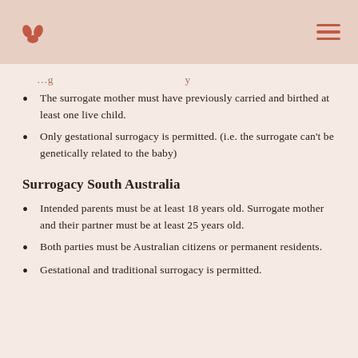The surrogate mother must have previously carried and birthed at least one live child.
Only gestational surrogacy is permitted. (i.e. the surrogate can’t be genetically related to the baby)
Surrogacy South Australia
Intended parents must be at least 18 years old. Surrogate mother and their partner must be at least 25 years old.
Both parties must be Australian citizens or permanent residents.
Gestational and traditional surrogacy is permitted.